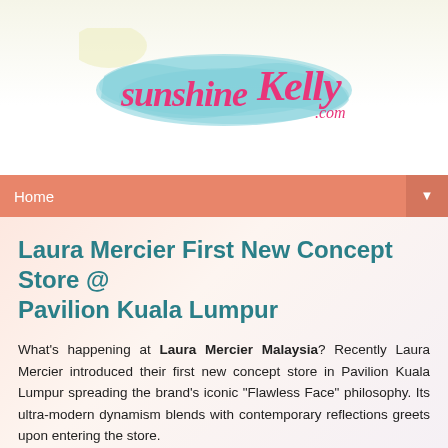[Figure (logo): SunshineKelly.com blog logo with pink cursive script on a light blue watercolor brush stroke background]
Home ▼
Laura Mercier First New Concept Store @ Pavilion Kuala Lumpur
What's happening at Laura Mercier Malaysia? Recently Laura Mercier introduced their first new concept store in Pavilion Kuala Lumpur spreading the brand's iconic "Flawless Face" philosophy. Its ultra-modern dynamism blends with contemporary reflections greets upon entering the store.